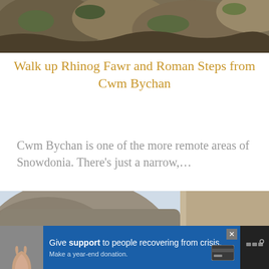[Figure (photo): Rocky mountain terrain with mossy boulders, top of page]
Walk up Rhinog Fawr and Roman Steps from Cwm Bychan
Cwm Bychan is one of the more remote areas of Snowdonia. There’s just a narrow,...
[Figure (photo): Close-up of rocky stone slabs with sky and mountains in background]
[Figure (photo): Hands holding at bottom left corner, partial view]
Give support to people recovering from crisis. Make a year-end donation.